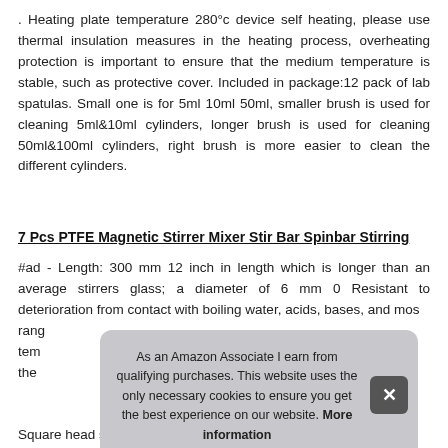. Heating plate temperature 280°c device self heating, please use thermal insulation measures in the heating process, overheating protection is important to ensure that the medium temperature is stable, such as protective cover. Included in package:12 pack of lab spatulas. Small one is for 5ml 10ml 50ml, smaller brush is used for cleaning 5ml&10ml cylinders, longer brush is used for cleaning 50ml&100ml cylinders, right brush is more easier to clean the different cylinders.
7 Pcs PTFE Magnetic Stirrer Mixer Stir Bar Spinbar Stirring
#ad - Length: 300 mm 12 inch in length which is longer than an average stirrers glass; a diameter of 6 mm 0 Resistant to deterioration from contact with boiling water, acids, bases, and mos[t solvents]; rang[e of temperature]; tem[perature]; the[...]
As an Amazon Associate I earn from qualifying purchases. This website uses the only necessary cookies to ensure you get the best experience on our website. More information
Square head spatula with a flat end and a spoon end for